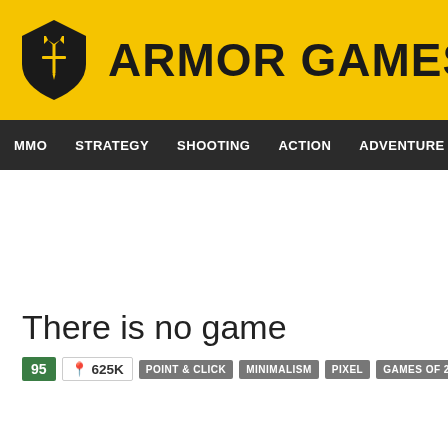[Figure (logo): Armor Games logo: yellow background with shield icon and bold text ARMOR GAMES]
MMO  STRATEGY  SHOOTING  ACTION  ADVENTURE  P
There is no game
95  625K  POINT & CLICK  MINIMALISM  PIXEL  GAMES OF 2016  INTER